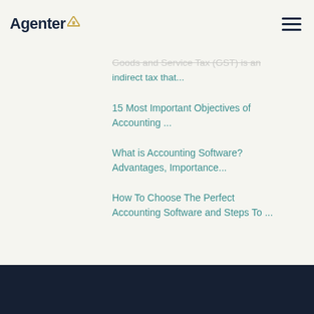Agenter
Goods and Service Tax (GST) is an indirect tax that...
15 Most Important Objectives of Accounting ...
What is Accounting Software? Advantages, Importance...
How To Choose The Perfect Accounting Software and Steps To ...